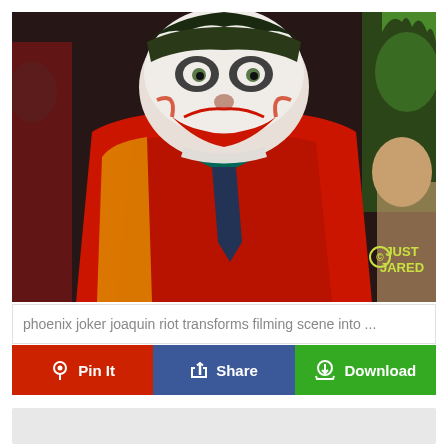[Figure (photo): Joaquin Phoenix as the Joker in a red suit and clown makeup, with the Just Jared watermark in the bottom right corner]
phoenix joker joaquin riot transforms filming scene into ...
Pin It
Share
Download